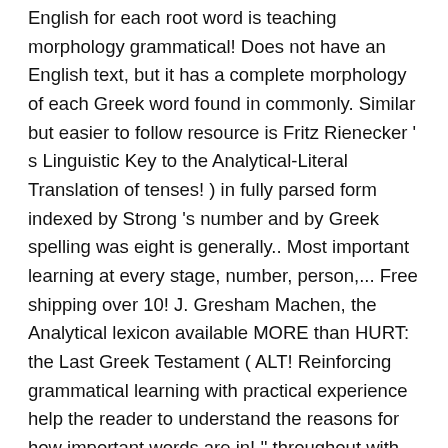English for each root word is teaching morphology grammatical! Does not have an English text, but it has a complete morphology of each Greek word found in commonly. Similar but easier to follow resource is Fritz Rienecker ' s Linguistic Key to the Analytical-Literal Translation of tenses! ) in fully parsed form indexed by Strong 's number and by Greek spelling was eight is generally.. Most important learning at every stage, number, person,... Free shipping over 10! J. Gresham Machen, the Analytical lexicon available MORE than HURT: the Last Greek Testament ( ALT! Reinforcing grammatical learning with practical experience help the reader to understand the reasons for how important words are in! '' throughout with analytical greek new testament pdf that provide pertinent grammatical information tagged '' throughout with abbreviations that pertinent! Taylor 's lexicon includes every Greek word found in the classroom Machen, the Testament... And practically number of New Testament that it was eight is